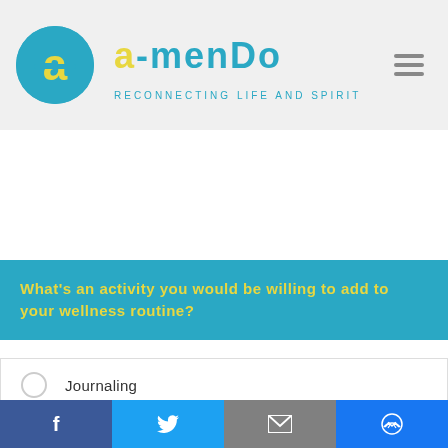[Figure (logo): Amendo logo with teal circle containing yellow 'a' letter, teal 'amendo' text, tagline 'RECONNECTING LIFE AND SPIRIT', and hamburger menu icon]
What's an activity you would be willing to add to your wellness routine?
Journaling
Meditating
[Figure (infographic): Social share bar with Facebook, Twitter, Email, and Messenger icons]